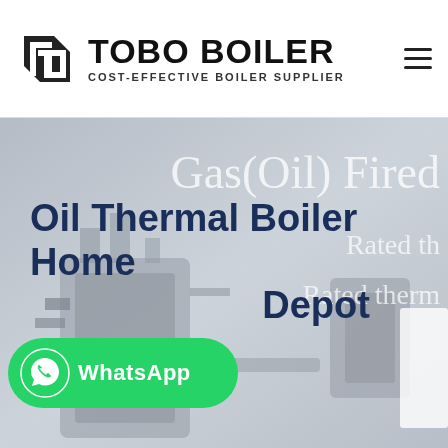[Figure (logo): TOBO BOILER logo with black geometric icon and text 'TOBO BOILER' in bold, tagline 'COST-EFFECTIVE BOILER SUPPLIER' below]
[Figure (photo): Hero banner showing industrial boiler machinery in background with gray/blue tones. Partial text on right reads 'Gas(Oil) Fired', 'Rated th', 'Rated therm'. Main headline 'Oil Thermal Boiler Home Depot' overlaid in dark navy. WhatsApp button in green at bottom left.]
Oil Thermal Boiler Home Depot